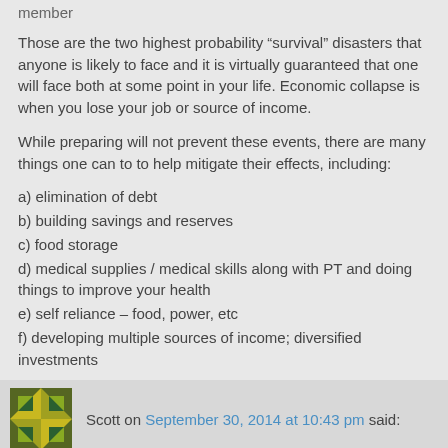member
Those are the two highest probability “survival” disasters that anyone is likely to face and it is virtually guaranteed that one will face both at some point in your life. Economic collapse is when you lose your job or source of income.
While preparing will not prevent these events, there are many things one can to to help mitigate their effects, including:
a) elimination of debt
b) building savings and reserves
c) food storage
d) medical supplies / medical skills along with PT and doing things to improve your health
e) self reliance – food, power, etc
f) developing multiple sources of income; diversified investments
Scott on September 30, 2014 at 10:43 pm said:
I meant to post a comment about your recent switch to more “realistic” scenarios in your weekly schedule. I found